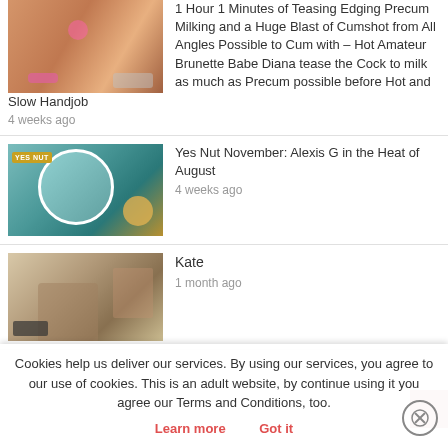[Figure (photo): Thumbnail image of a woman, warm orange tones]
1 Hour 1 Minutes of Teasing Edging Precum Milking and a Huge Blast of Cumshot from All Angles Possible to Cum with – Hot Amateur Brunette Babe Diana tease the Cock to milk as much as Precum possible before Hot and Slow Handjob
4 weeks ago
[Figure (photo): Thumbnail image with YES NUT overlay text, woman in teal background with circular frame]
Yes Nut November: Alexis G in the Heat of August
4 weeks ago
[Figure (photo): Thumbnail image of a woman sitting outdoors near stone structure]
Kate
1 month ago
Cookies help us deliver our services. By using our services, you agree to our use of cookies. This is an adult website, by continue using it you agree our Terms and Conditions, too.  Learn more     Got it